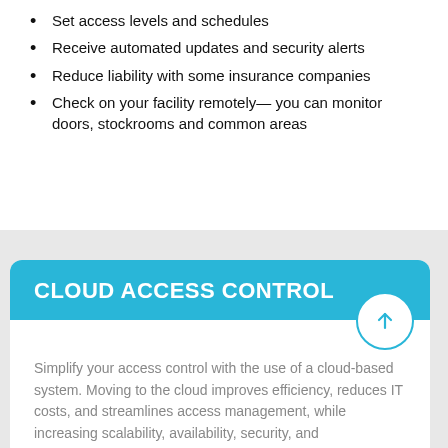Set access levels and schedules
Receive automated updates and security alerts
Reduce liability with some insurance companies
Check on your facility remotely— you can monitor doors, stockrooms and common areas
CLOUD ACCESS CONTROL
Simplify your access control with the use of a cloud-based system. Moving to the cloud improves efficiency, reduces IT costs, and streamlines access management, while increasing scalability, availability, security, and